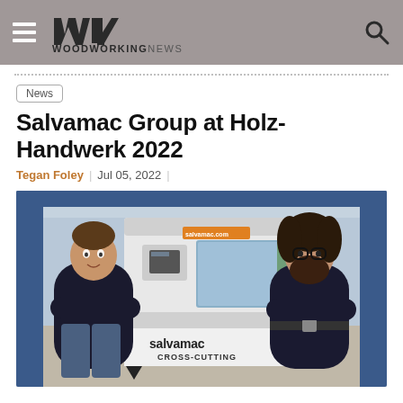WoodworkingNews
News
Salvamac Group at Holz-Handwerk 2022
Tegan Foley | Jul 05, 2022 |
[Figure (photo): Two men standing in front of a Salvamac Cross-Cutting machine in an industrial workshop. The machine is white with an orange/yellow label reading 'salvamac.com'. The bottom of the machine reads 'salvamac CROSS-CUTTING'. The man on the left wears a dark polo shirt and jeans with arms crossed; the man on the right wears a dark shirt and glasses with arms crossed.]